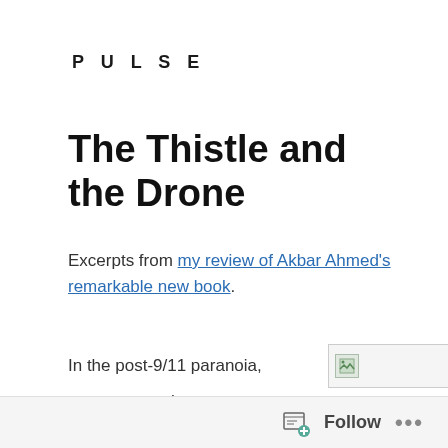PULSE
The Thistle and the Drone
Excerpts from my review of Akbar Ahmed's remarkable new book.
In the post-9/11 paranoia, many rogues have endeavoured to portray their local adversaries as
[Figure (other): Broken/missing image placeholder with small green icon]
Follow ...